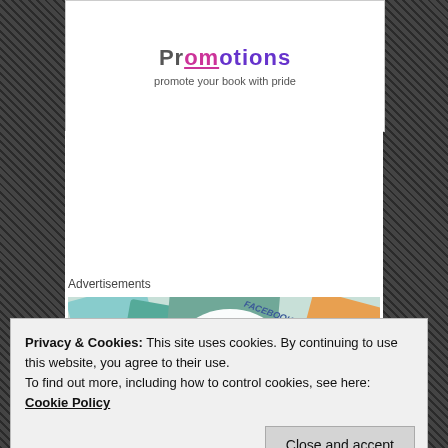[Figure (logo): Promotions logo with text 'Promotions' in purple/pink gradient and subtitle 'promote your book with pride']
Advertisements
[Figure (screenshot): WordPress VIP advertisement showing books/media on table with circle overlay text 'We're the WordPress CMS for Very Important Content' with WordPress VIP logo]
Privacy & Cookies: This site uses cookies. By continuing to use this website, you agree to their use.
To find out more, including how to control cookies, see here:
Cookie Policy